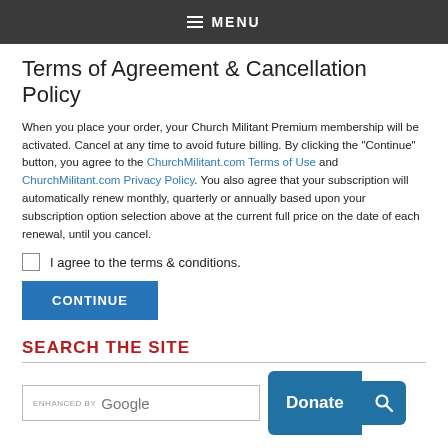MENU
Terms of Agreement & Cancellation Policy
When you place your order, your Church Militant Premium membership will be activated. Cancel at any time to avoid future billing. By clicking the "Continue" button, you agree to the ChurchMilitant.com Terms of Use and ChurchMilitant.com Privacy Policy. You also agree that your subscription will automatically renew monthly, quarterly or annually based upon your subscription option selection above at the current full price on the date of each renewal, until you cancel.
I agree to the terms & conditions.
CONTINUE
SEARCH THE SITE